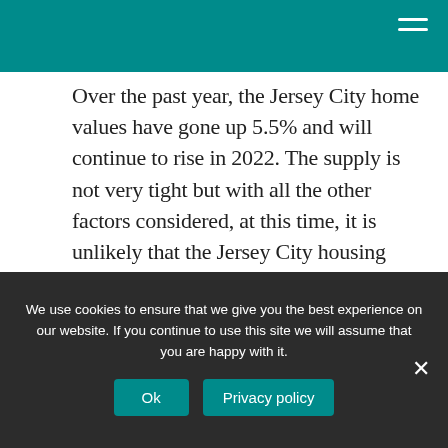Over the past year, the Jersey City home values have gone up 5.5% and will continue to rise in 2022. The supply is not very tight but with all the other factors considered, at this time, it is unlikely that the Jersey City housing market will see a price decline in 2022.
Can my landlord raise my rent during the pandemic NJ?
We use cookies to ensure that we give you the best experience on our website. If you continue to use this site we will assume that you are happy with it.